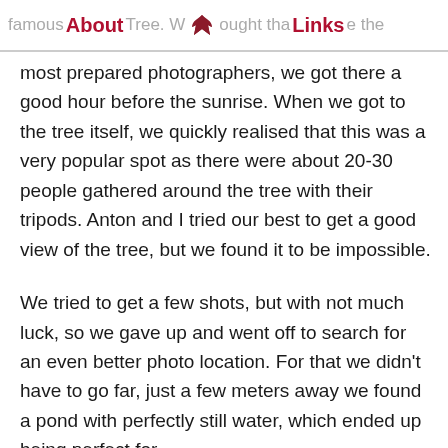famous About Tree. W [fox icon] ought tha Links e the
most prepared photographers, we got there a good hour before the sunrise. When we got to the tree itself, we quickly realised that this was a very popular spot as there were about 20-30 people gathered around the tree with their tripods. Anton and I tried our best to get a good view of the tree, but we found it to be impossible.

We tried to get a few shots, but with not much luck, so we gave up and went off to search for an even better photo location. For that we didn't have to go far, just a few meters away we found a pond with perfectly still water, which ended up being perfect for